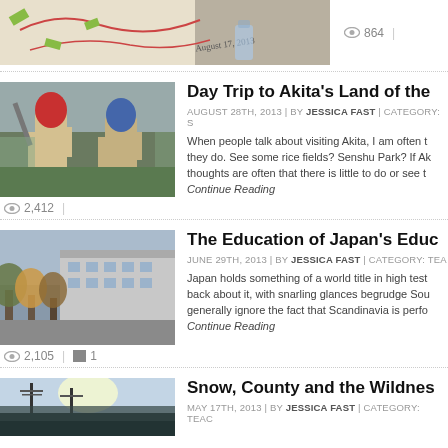[Figure (photo): Partial view of a hand-drawn map on paper with a water bottle visible]
864
[Figure (photo): Two large Namahage demon figures standing outdoors]
Day Trip to Akita's Land of the
AUGUST 28TH, 2013 | BY JESSICA FAST | CATEGORY: S
When people talk about visiting Akita, I am often t they do. See some rice fields? Senshu Park? If Ak thoughts are often that there is little to do or see t Continue Reading
2,412
[Figure (photo): A school building exterior with autumn trees in the foreground]
The Education of Japan's Educ
JUNE 29TH, 2013 | BY JESSICA FAST | CATEGORY: TEA
Japan holds something of a world title in high test back about it, with snarling glances begrudge Sou generally ignore the fact that Scandinavia is perfo Continue Reading
2,105
1
[Figure (photo): Outdoor scene with utility poles against a bright sky]
Snow, County and the Wildnes
MAY 17TH, 2013 | BY JESSICA FAST | CATEGORY: TEAC